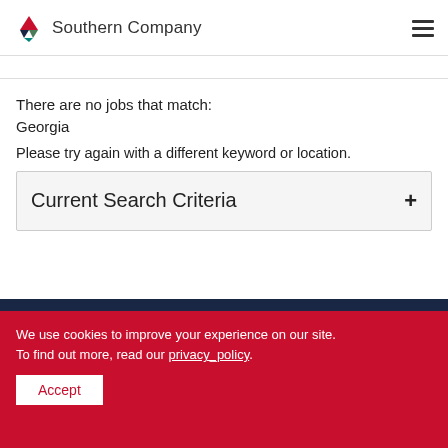Southern Company
There are no jobs that match:
Georgia
Please try again with a different keyword or location.
Current Search Criteria +
We use cookies to improve your experience on our site. To find out more, read our privacy_policy.
Accept